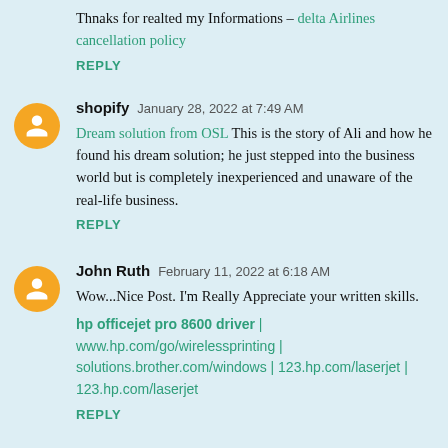Thnaks for realted my Informations – delta Airlines cancellation policy
REPLY
shopify  January 28, 2022 at 7:49 AM
Dream solution from OSL This is the story of Ali and how he found his dream solution; he just stepped into the business world but is completely inexperienced and unaware of the real-life business.
REPLY
John Ruth  February 11, 2022 at 6:18 AM
Wow...Nice Post. I'm Really Appreciate your written skills.
hp officejet pro 8600 driver | www.hp.com/go/wirelessprinting | solutions.brother.com/windows | 123.hp.com/laserjet | 123.hp.com/laserjet
REPLY